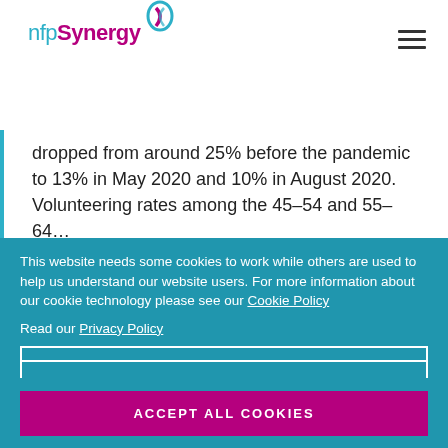[Figure (logo): nfpSynergy logo with teal text 'nfp', magenta bold 'Synergy', and a circular icon in teal/purple]
dropped from around 25% before the pandemic to 13% in May 2020 and 10% in August 2020. Volunteering rates among the 45-54 and 55-64...
This website needs some cookies to work while others are used to help us understand our website users. For more information about our cookie technology please see our Cookie Policy

Read our Privacy Policy
ESSENTIAL ONLY
ALL EXCEPT TRACKING
ACCEPT ALL COOKIES